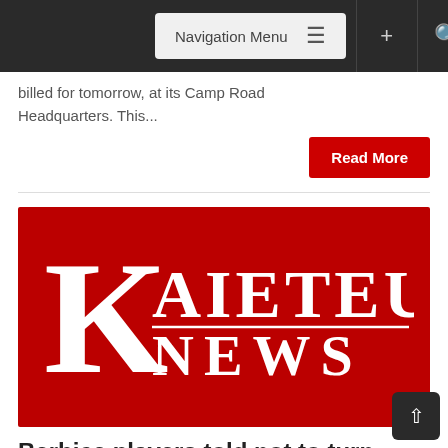Navigation Menu
billed for tomorrow, at its Camp Road Headquarters. This...
Read More
[Figure (logo): Kaieteur News logo — large white serif K on red background with 'KAIETEUR' and 'NEWS' text]
Berbice players told not to turn up for national trials